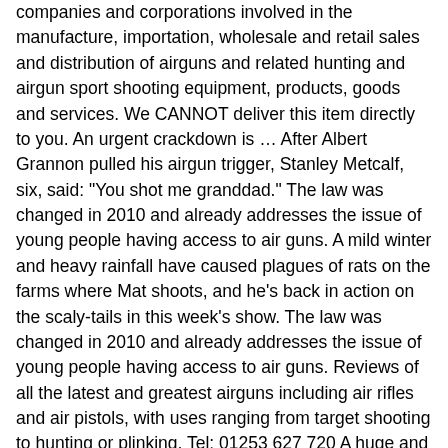companies and corporations involved in the manufacture, importation, wholesale and retail sales and distribution of airguns and related hunting and airgun sport shooting equipment, products, goods and services. We CANNOT deliver this item directly to you. An urgent crackdown is … After Albert Grannon pulled his airgun trigger, Stanley Metcalf, six, said: "You shot me granddad." The law was changed in 2010 and already addresses the issue of young people having access to air guns. A mild winter and heavy rainfall have caused plagues of rats on the farms where Mat shoots, and he's back in action on the scaly-tails in this week's show. The law was changed in 2010 and already addresses the issue of young people having access to air guns. Reviews of all the latest and greatest airguns including air rifles and air pistols, with uses ranging from target shooting to hunting or plinking. Tel: 01253 627 720 A huge and hidden archive of Jack Hargreaves' Out of Town TV programmes is being converted to DVD… and there's much more to come, Gary Chillingworth reveals the new Optisan CP 10x32 and CP 3-12x32